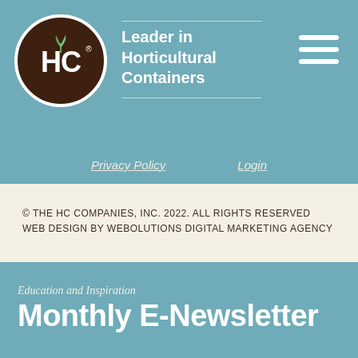[Figure (logo): HC Companies circular logo — dark brown circle with white HC text and small green plant sprout above, white ring border, on teal background]
Leader in Horticultural Containers
[Figure (other): Hamburger menu icon — three white horizontal lines on teal background]
Privacy Policy    Login
© THE HC COMPANIES, INC. 2022. ALL RIGHTS RESERVED
WEB DESIGN BY WEBOLUTIONS DIGITAL MARKETING AGENCY
Education and Inspiration
Monthly E-Newsletter